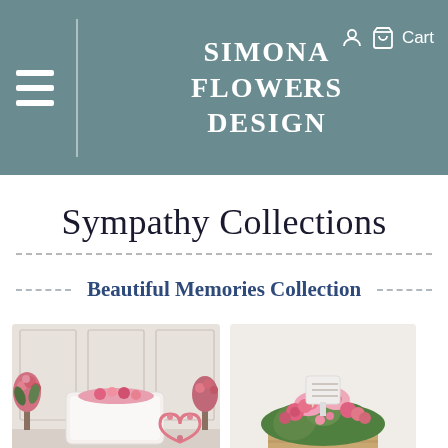SIMONA FLOWERS DESIGN — Cart
Sympathy Collections
Beautiful Memories Collection
[Figure (photo): Pink floral funeral arrangement set with casket spray, standing spray, and heart-shaped wreath on a white casket display]
[Figure (photo): Pink and white floral funeral basket arrangement with lilies and mixed flowers, with a memorial stone]